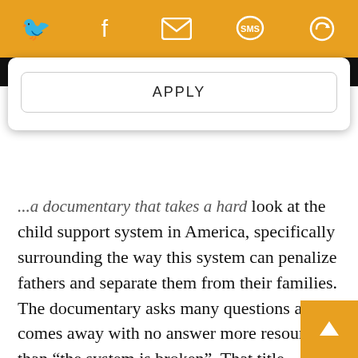[Figure (screenshot): Orange social sharing bar with Twitter, Facebook, Email, SMS, and another icon in white on orange background]
Call for Music Writers
APPLY
look at the child support system in America, specifically surrounding the way this system can penalize fathers and separate them from their families. The documentary asks many questions and comes away with no answer more resounding than “the system is broken”. That title question may seem like the kind that would come from a child. However, in terms of this documentary, there are few more adult questions to ask than simply Where’s Daddy?